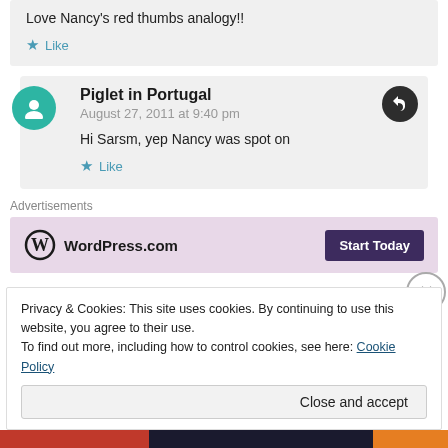Love Nancy’s red thumbs analogy!!
★ Like
Piglet in Portugal
August 27, 2011 at 9:40 pm
Hi Sarsm, yep Nancy was spot on
★ Like
Advertisements
[Figure (logo): WordPress.com logo with Start Today button on pink/mauve background]
Privacy & Cookies: This site uses cookies. By continuing to use this website, you agree to their use.
To find out more, including how to control cookies, see here: Cookie Policy
Close and accept